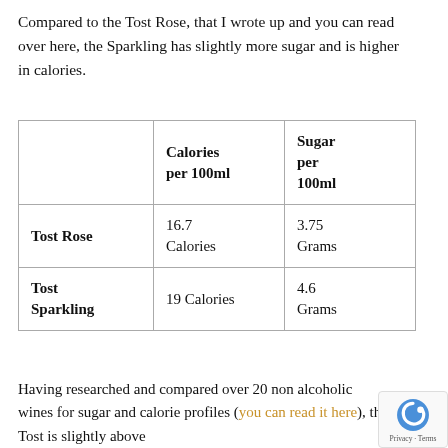Compared to the Tost Rose, that I wrote up and you can read over here, the Sparkling has slightly more sugar and is higher in calories.
|  | Calories per 100ml | Sugar per 100ml |
| --- | --- | --- |
| Tost Rose | 16.7 Calories | 3.75 Grams |
| Tost Sparkling | 19 Calories | 4.6 Grams |
Having researched and compared over 20 non alcoholic wines for sugar and calorie profiles (you can read it here), the Tost is slightly above